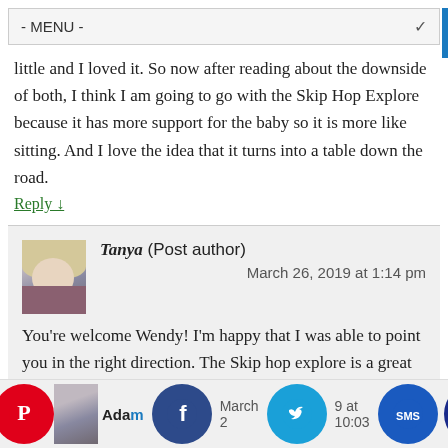- MENU -
little and I loved it. So now after reading about the downside of both, I think I am going to go with the Skip Hop Explore because it has more support for the baby so it is more like sitting. And I love the idea that it turns into a table down the road.
Reply ↓
Tanya (Post author)
March 26, 2019 at 1:14 pm
You're welcome Wendy!  I'm happy that I was able to point you in the right direction.  The Skip hop explore is a great alternative to a more traditional exersaucer!
Reply ↓
Adam
March 2[...] at 10:03